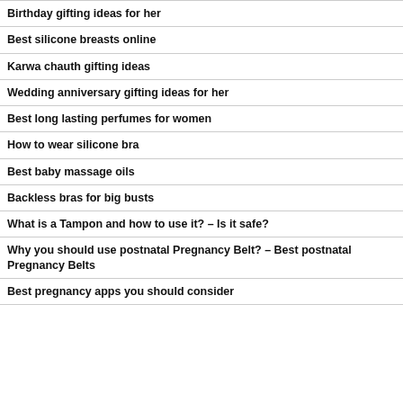Birthday gifting ideas for her
Best silicone breasts online
Karwa chauth gifting ideas
Wedding anniversary gifting ideas for her
Best long lasting perfumes for women
How to wear silicone bra
Best baby massage oils
Backless bras for big busts
What is a Tampon and how to use it? – Is it safe?
Why you should use postnatal Pregnancy Belt? – Best postnatal Pregnancy Belts
Best pregnancy apps you should consider